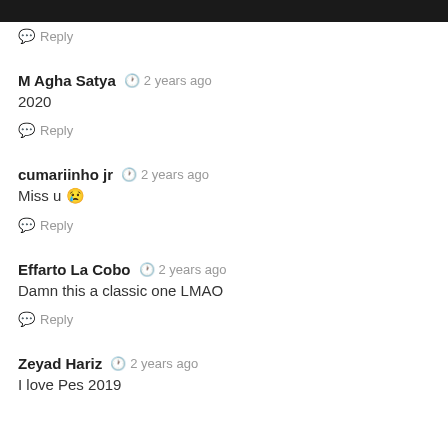Reply
M Agha Satya  2 years ago
2020
Reply
cumariinho jr  2 years ago
Miss u 😢
Reply
Effarto La Cobo  2 years ago
Damn this a classic one LMAO
Reply
Zeyad Hariz  2 years ago
I love Pes 2019